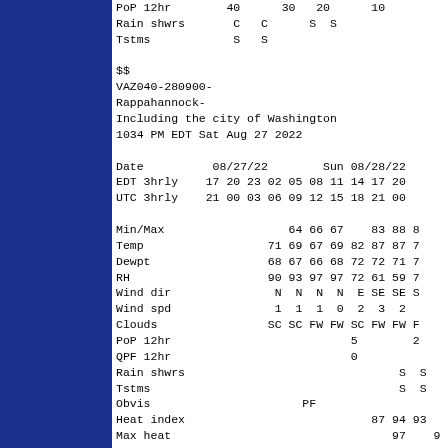PoP 12hr        40      30   20      10
Rain shwrs       C   C      S  S
Tstms            S   S

$$
VAZ040-280900-
Rappahannock-
Including the city of Washington
1034 PM EDT Sat Aug 27 2022

Date          08/27/22        Sun 08/28/22
EDT 3hrly    17 20 23 02 05 08 11 14 17 20
UTC 3hrly    21 00 03 06 09 12 15 18 21 00

Min/Max                  64 66 67    83 88 89
Temp                  71 69 67 69 82 87 87 72
Dewpt                 68 67 66 68 72 72 71 72
RH                    90 93 97 97 72 61 59 79
Wind dir               N  N  N  N  E SE SE S0
Wind spd               1  1  1  0  2  3  2  1
Clouds                SC SC FW FW SC FW FW F0
PoP 12hr                          5         20
QPF 12hr                          0
Rain shwrs                               S  S
Tstms                                    S  S
Obvis                      PF
Heat index                           87 94 93
Max heat                                97    90

Date          08/30    Wed 08/31/22  Thu 09
EDT 6hrly    14 20    02 08 14 20   02 08